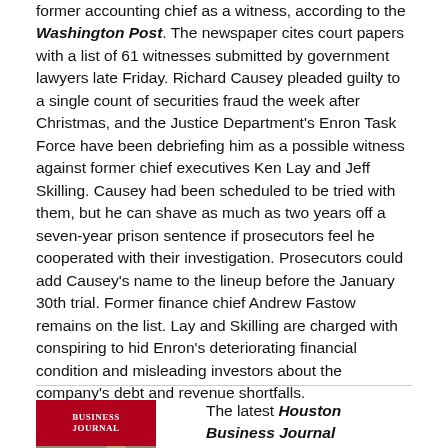former accounting chief as a witness, according to the Washington Post. The newspaper cites court papers with a list of 61 witnesses submitted by government lawyers late Friday. Richard Causey pleaded guilty to a single count of securities fraud the week after Christmas, and the Justice Department's Enron Task Force have been debriefing him as a possible witness against former chief executives Ken Lay and Jeff Skilling. Causey had been scheduled to be tried with them, but he can shave as much as two years off a seven-year prison sentence if prosecutors feel he cooperated with their investigation. Prosecutors could add Causey's name to the lineup before the January 30th trial. Former finance chief Andrew Fastow remains on the list. Lay and Skilling are charged with conspiring to hid Enron's deteriorating financial condition and misleading investors about the company's debt and revenue shortfalls.
The latest Houston Business Journal "Book of Lists" has been delivered to